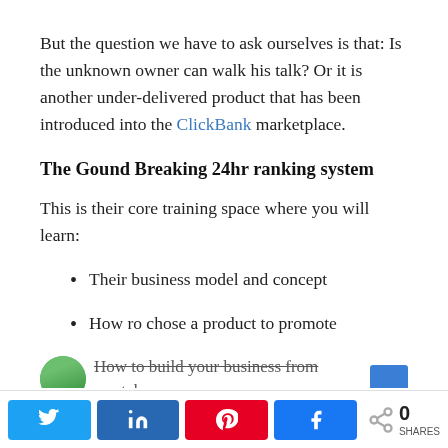But the question we have to ask ourselves is that: Is the unknown owner can walk his talk? Or it is another under-delivered product that has been introduced into the ClickBank marketplace.
The Gound Breaking 24hr ranking system
This is their core training space where you will learn:
Their business model and concept
How ro chose a product to promote
How to build your business from scratch
Share buttons: Twitter, LinkedIn, Pinterest, Facebook | 0 SHARES